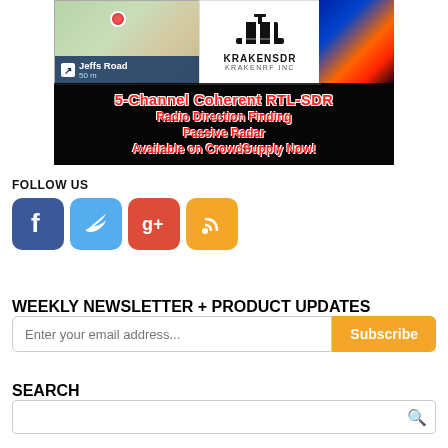[Figure (infographic): KrakenSDR advertisement banner showing map navigation screenshot, KrakenRF Inc logo with hat graphic, radar/thermal image, and red bold text overlay reading: 5-Channel Coherent RTL-SDR, Radio Direction Finding, Passive Radar, Available on CrowdSupply Now!]
FOLLOW US
[Figure (infographic): Four social media icon buttons: Facebook (blue), Twitter (light blue), Google+ (red), RSS feed (orange)]
WEEKLY NEWSLETTER + PRODUCT UPDATES
Enter your email address... Subscribe
SEARCH